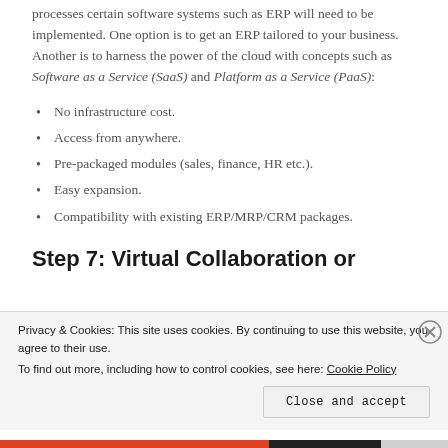processes certain software systems such as ERP will need to be implemented. One option is to get an ERP tailored to your business. Another is to harness the power of the cloud with concepts such as Software as a Service (SaaS) and Platform as a Service (PaaS):
No infrastructure cost.
Access from anywhere.
Pre-packaged modules (sales, finance, HR etc.).
Easy expansion.
Compatibility with existing ERP/MRP/CRM packages.
Step 7: Virtual Collaboration or
Privacy & Cookies: This site uses cookies. By continuing to use this website, you agree to their use. To find out more, including how to control cookies, see here: Cookie Policy